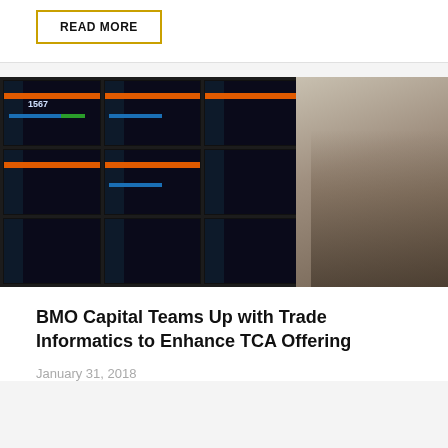READ MORE
[Figure (photo): Two people looking at a large wall of monitors displaying a financial analytics dashboard with the number 1567 visible]
BMO Capital Teams Up with Trade Informatics to Enhance TCA Offering
January 31, 2018